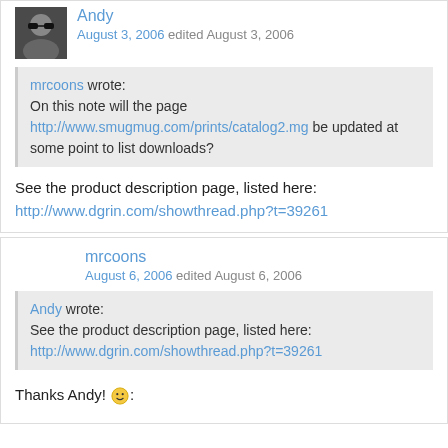Andy
August 3, 2006 edited August 3, 2006
mrcoons wrote: On this note will the page http://www.smugmug.com/prints/catalog2.mg be updated at some point to list downloads?
See the product description page, listed here:
http://www.dgrin.com/showthread.php?t=39261
mrcoons
August 6, 2006 edited August 6, 2006
Andy wrote: See the product description page, listed here: http://www.dgrin.com/showthread.php?t=39261
Thanks Andy! 🙂: